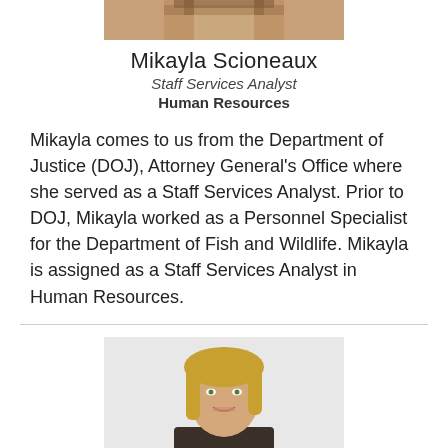[Figure (photo): Top portion of a person's headshot photo, cropped at the top of the page]
Mikayla Scioneaux
Staff Services Analyst
Human Resources
Mikayla comes to us from the Department of Justice (DOJ), Attorney General's Office where she served as a Staff Services Analyst. Prior to DOJ, Mikayla worked as a Personnel Specialist for the Department of Fish and Wildlife. Mikayla is assigned as a Staff Services Analyst in Human Resources.
[Figure (photo): Headshot photo of a blonde woman smiling, wearing dark clothing]